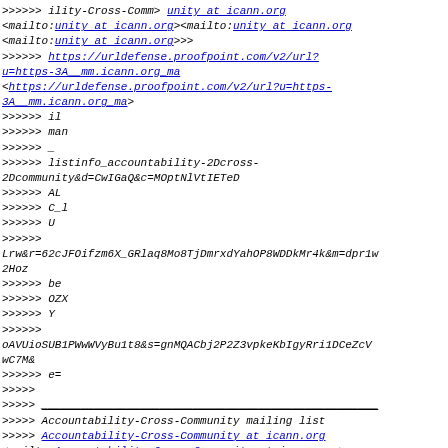>>>>>> ility-Cross-Comm> unity at icann.org
<mailto:unity at icann.org><mailto:unity at icann.org
<mailto:unity at icann.org>>>
>>>>>> https://urldefense.proofpoint.com/v2/url?
u=https-3A__mm.icann.org_ma
<https://urldefense.proofpoint.com/v2/url?u=https-3A__mm.icann.org_ma>
>>>>>> il
>>>>>> man
>>>>>> _
>>>>>> listinfo_accountability-2Dcross-2Dcommunity&d=CwIGaQ&c=MOptNlVtIETeD
>>>>>> AL
>>>>>> C_l
>>>>>> U
>>>>>>
Lrw&r=62cJFOifzm6X_GRlaq8Mo8TjDmrxdYahOP8WDDkMr4k&m=dpr1w2Hoz
>>>>>> be
>>>>>> OZX
>>>>>> Y
>>>>>>
oAVUioSUB1PWwWVyBu1t8&s=gnMQACbj2P2Z3vpkeKbIgyRri1DCeZcVwC7M&
>>>>>> e=
>>>>>
>>>>>
___________________________________________________
>>>>> Accountability-Cross-Community mailing list
>>>>> Accountability-Cross-Community at icann.org
<mailto:Accountability-Cross-Community at icann.org>
<mailto:Accountability-Cross-Community at icann.org>